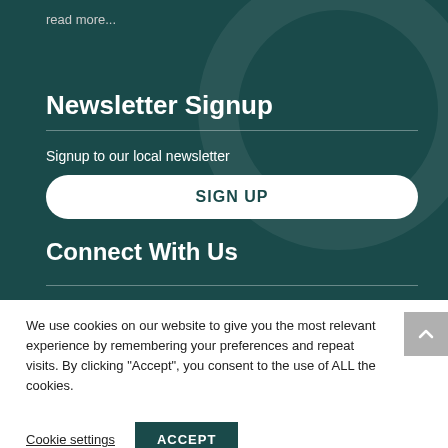read more...
Newsletter Signup
Signup to our local newsletter
SIGN UP
Connect With Us
We use cookies on our website to give you the most relevant experience by remembering your preferences and repeat visits. By clicking “Accept”, you consent to the use of ALL the cookies.
Cookie settings
ACCEPT